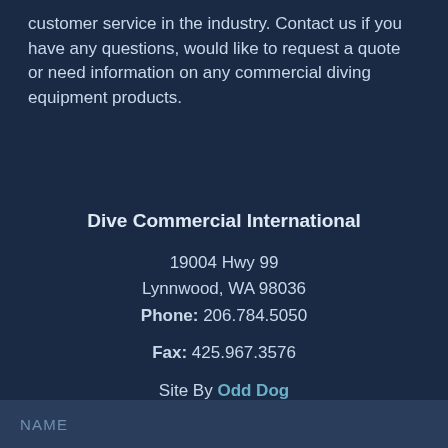customer service in the industry. Contact us if you have any questions, would like to request a quote or need information on any commercial diving equipment products.
Dive Commercial International
19004 Hwy 99
Lynnwood, WA 98036
Phone: 206.784.5050
Fax: 425.967.3576
Site By Odd Dog
NAME